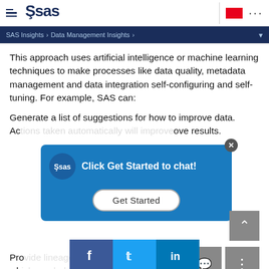SAS Insights > Data Management Insights >
This approach uses artificial intelligence or machine learning techniques to make processes like data quality, metadata management and data integration self-configuring and self-tuning. For example, SAS can:
Generate a list of suggestions for how to improve data. Ac[...] ove results.
[Figure (screenshot): Chat popup overlay with SAS logo, text 'Click Get Started to chat!' and a 'Get Started' button on blue background]
Pro[...] information, wh[...] such [...] only allo[...] data in a table.
[Figure (screenshot): Social share buttons: Facebook, Twitter, LinkedIn]